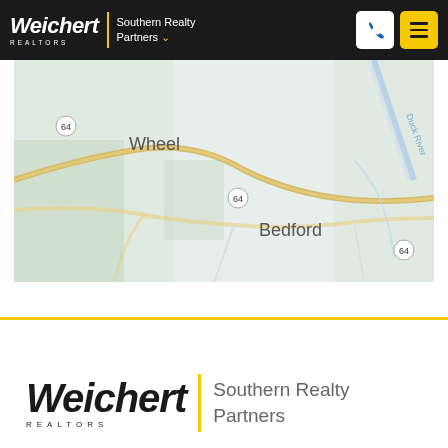Weichert REALTORS | Southern Realty Partners
[Figure (map): Street map showing Wheel and Bedford area with Route 64 and Duck River labeled]
[Figure (logo): Weichert REALTORS Southern Realty Partners logo in black and yellow]